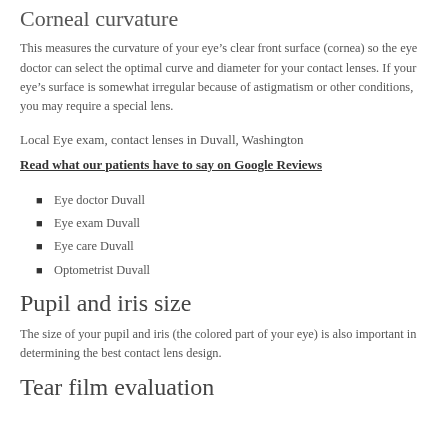Corneal curvature
This measures the curvature of your eye’s clear front surface (cornea) so the eye doctor can select the optimal curve and diameter for your contact lenses. If your eye’s surface is somewhat irregular because of astigmatism or other conditions, you may require a special lens.
Local Eye exam, contact lenses in Duvall, Washington
Read what our patients have to say on Google Reviews
Eye doctor Duvall
Eye exam Duvall
Eye care Duvall
Optometrist Duvall
Pupil and iris size
The size of your pupil and iris (the colored part of your eye) is also important in determining the best contact lens design.
Tear film evaluation